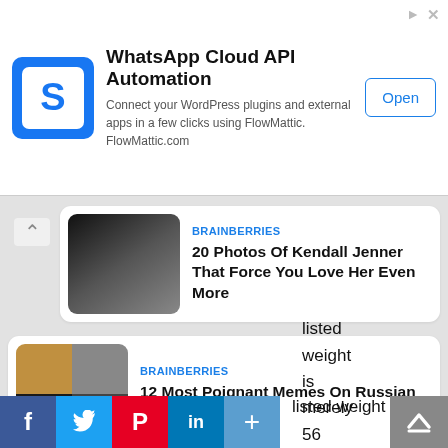[Figure (screenshot): Advertisement banner for WhatsApp Cloud API Automation by FlowMattic with Open button]
WhatsApp Cloud API Automation
Connect your WordPress plugins and external apps in a few clicks using FlowMattic. FlowMattic.com
[Figure (screenshot): Brainberries card: 20 Photos Of Kendall Jenner That Force You Love Her Even More]
BRAINBERRIES
20 Photos Of Kendall Jenner That Force You Love Her Even More
[Figure (screenshot): Brainberries card: 12 Most Poignant Memes On Russian Attack On Ukraine]
BRAINBERRIES
12 Most Poignant Memes On Russian Attack On Ukraine
Giddish has stunning body physic; all the more, body physic makes her look exceedingly attractive and adorable. In addition, Giddish's body height makes her stand out from the rest of the females as she stands 5 feet and her listed weight is merely 56
[Figure (screenshot): Social share buttons: Facebook, Twitter, Pinterest, LinkedIn, Plus and scroll-up button]